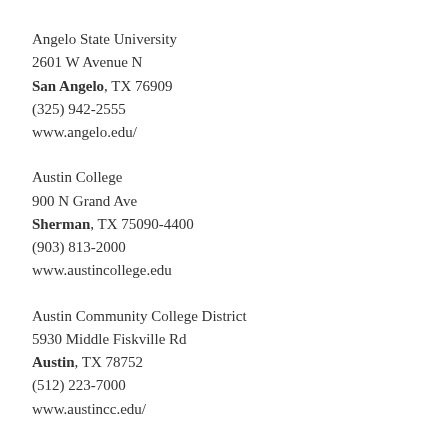Angelo State University
2601 W Avenue N
San Angelo, TX 76909
(325) 942-2555
www.angelo.edu/
Austin College
900 N Grand Ave
Sherman, TX 75090-4400
(903) 813-2000
www.austincollege.edu
Austin Community College District
5930 Middle Fiskville Rd
Austin, TX 78752
(512) 223-7000
www.austincc.edu/
Baylor University
500 Speight Ave.
Waco, TX 76798
(254) 710-1011